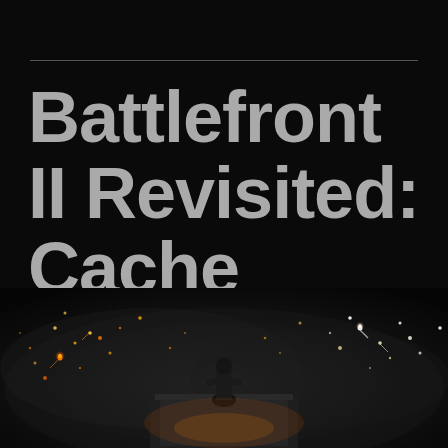Battlefront II Revisited: Cache Grab
[Figure (photo): Dark atmospheric photo of a battle scene with a figure silhouetted against sparks and glowing embers/projectiles in smoky conditions]